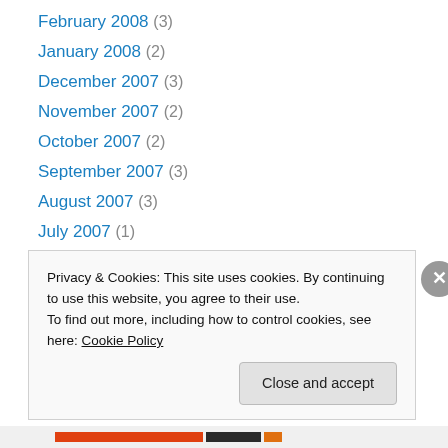February 2008 (3)
January 2008 (2)
December 2007 (3)
November 2007 (2)
October 2007 (2)
September 2007 (3)
August 2007 (3)
July 2007 (1)
June 2007 (2)
May 2007 (1)
April 2007 (1)
March 2007 (1)
February 2007 (2)
Privacy & Cookies: This site uses cookies. By continuing to use this website, you agree to their use. To find out more, including how to control cookies, see here: Cookie Policy
Close and accept